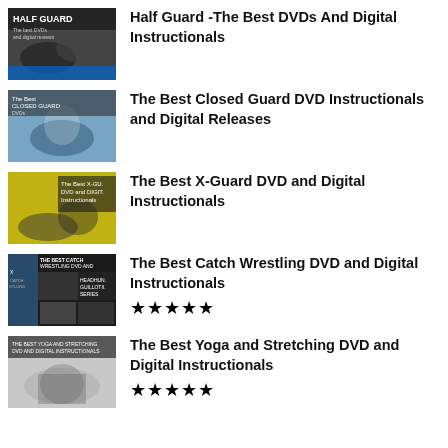[Figure (photo): Half Guard DVD cover thumbnail showing two BJJ fighters grappling with text 'Half Guard' overlay]
Half Guard -The Best DVDs And Digital Instructionals
[Figure (photo): Closed Guard DVD cover thumbnail showing BJJ fighters in closed guard position]
The Best Closed Guard DVD Instructionals and Digital Releases
[Figure (photo): X-Guard DVD cover thumbnail showing BJJ fighters with yellow/black colors and text 'The Best X-Guard DVD and DIGITAL Instructionals']
The Best X-Guard DVD and Digital Instructionals
[Figure (photo): Catch Wrestling DVD cover thumbnail showing collage of wrestlers with text 'THE BEST CATCH WRESTLING DVD AND DIGITAL INSTRUCTIONALS']
The Best Catch Wrestling DVD and Digital Instructionals
[Figure (photo): Yoga and Stretching DVD cover thumbnail showing person stretching with text 'THE BEST YOGA AND STRETCHING DVD AND DIGITAL INSTRUCTIONALS']
The Best Yoga and Stretching DVD and Digital Instructionals